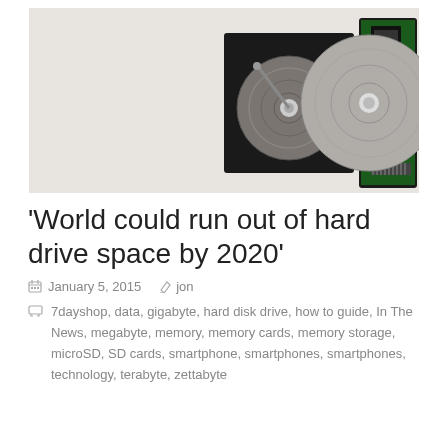[Figure (photo): Collection of hard disk drives and storage components laid out on a white background, including exposed HDD platters, circuit boards, and drive casings]
'World could run out of hard drive space by 2020'
January 5, 2015   jon
7dayshop, data, gigabyte, hard disk drive, how to guide, In The News, megabyte, memory, memory cards, memory storage, microSD, SD cards, smartphone, smartphones, smartphones, technology, terabyte, zettabyte